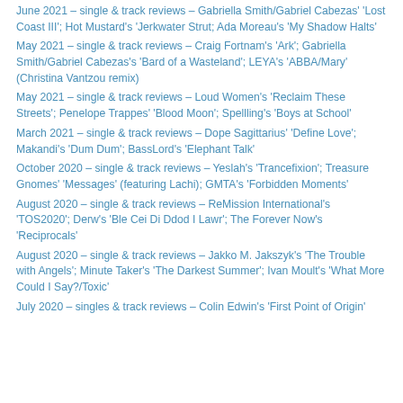June 2021 – single & track reviews – Gabriella Smith/Gabriel Cabezas' 'Lost Coast III'; Hot Mustard's 'Jerkwater Strut; Ada Moreau's 'My Shadow Halts'
May 2021 – single & track reviews – Craig Fortnam's 'Ark'; Gabriella Smith/Gabriel Cabezas's 'Bard of a Wasteland'; LEYA's 'ABBA/Mary' (Christina Vantzou remix)
May 2021 – single & track reviews – Loud Women's 'Reclaim These Streets'; Penelope Trappes' 'Blood Moon'; Spellling's 'Boys at School'
March 2021 – single & track reviews – Dope Sagittarius' 'Define Love'; Makandi's 'Dum Dum'; BassLord's 'Elephant Talk'
October 2020 – single & track reviews – Yeslah's 'Trancefixion'; Treasure Gnomes' 'Messages' (featuring Lachi); GMTA's 'Forbidden Moments'
August 2020 – single & track reviews – ReMission International's 'TOS2020'; Derw's 'Ble Cei Di Ddod I Lawr'; The Forever Now's 'Reciprocals'
August 2020 – single & track reviews – Jakko M. Jakszyk's 'The Trouble with Angels'; Minute Taker's 'The Darkest Summer'; Ivan Moult's 'What More Could I Say?/Toxic'
July 2020 – singles & track reviews – Colin Edwin's 'First Point of Origin'